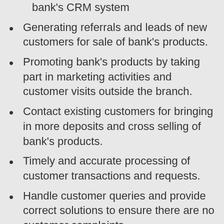Daily entry of interaction with customers in bank's CRM system
Generating referrals and leads of new customers for sale of bank's products.
Promoting bank's products by taking part in marketing activities and customer visits outside the branch.
Contact existing customers for bringing in more deposits and cross selling of bank's products.
Timely and accurate processing of customer transactions and requests.
Handle customer queries and provide correct solutions to ensure there are no customer complaints.
Follow all compliance guidelines (regulatory and legislative) for each activity released from time to time.